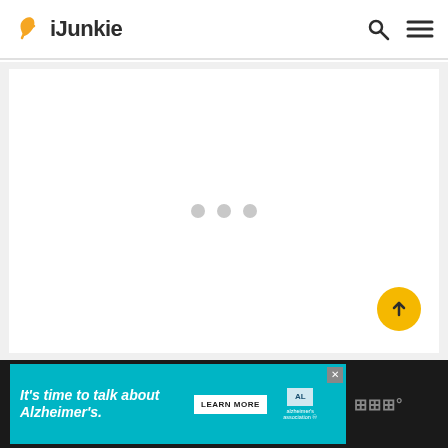iJunkie
[Figure (screenshot): Loading spinner area with three gray dots centered in a white content panel on a light gray background]
[Figure (infographic): Alzheimer's Association advertisement banner: 'It's time to talk about Alzheimer's.' with LEARN MORE button and Alzheimer's Association logo on dark background]